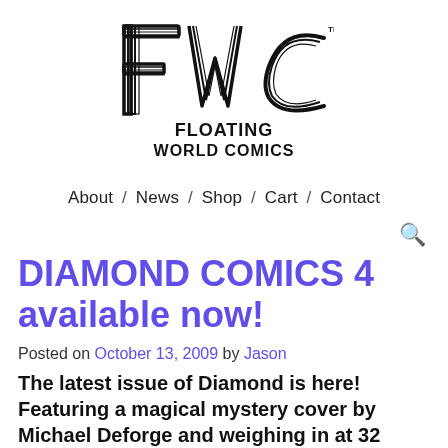[Figure (logo): Floating World Comics logo — stylized FWC letters with 'FLOATING WORLD COMICS' text below]
About / News / Shop / Cart / Contact
DIAMOND COMICS 4 available now!
Posted on October 13, 2009 by Jason
The latest issue of Diamond is here! Featuring a magical mystery cover by Michael Deforge and weighing in at 32 pages, this is the coolest one yet. More